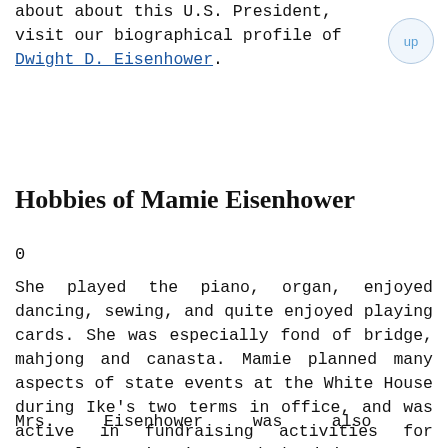about about this U.S. President, visit our biographical profile of Dwight D. Eisenhower.
Hobbies of Mamie Eisenhower
0
She played the piano, organ, enjoyed dancing, sewing, and quite enjoyed playing cards. She was especially fond of bridge, mahjong and canasta. Mamie planned many aspects of state events at the White House during Ike's two terms in office, and was active in fundraising activities for several organizations and charities.
Mrs. Eisenhower was also